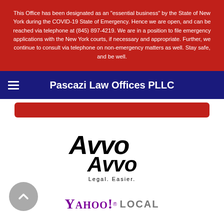This Office has been designated as an "essential business" by the State of New York during the COVID-19 State of Emergency. Hence we are open, and can be reached via telephone at (845) 897-4219. We are in a position to file emergency applications with the New York courts, if necessary and appropriate. Further, we continue to consult via telephone on non-emergency matters as well. Stay safe, and be well.
Pascazi Law Offices PLLC
[Figure (logo): Avvo logo with tagline 'Legal. Easier.']
[Figure (logo): Yahoo! Local logo]
[Figure (logo): Lawyers.com logo with circular icon]